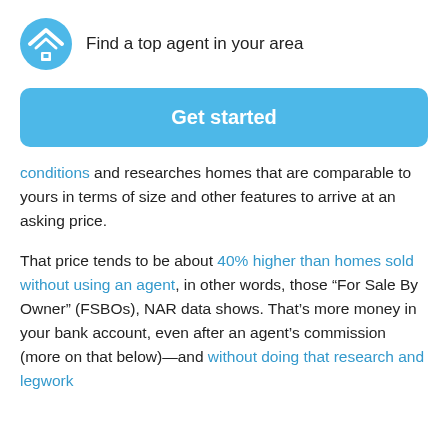Find a top agent in your area
Get started
conditions and researches homes that are comparable to yours in terms of size and other features to arrive at an asking price.
That price tends to be about 40% higher than homes sold without using an agent, in other words, those “For Sale By Owner” (FSBOs), NAR data shows. That’s more money in your bank account, even after an agent’s commission (more on that below)—and without doing that research and legwork